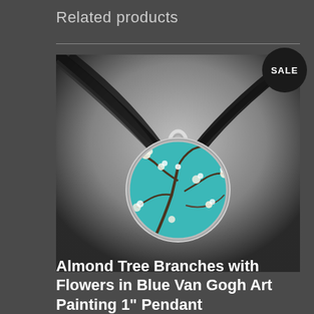Related products
[Figure (photo): A round glass pendant necklace featuring Van Gogh's Almond Tree Branches with Flowers painting in blue tones, hung on a black ribbon/cord necklace, photographed against a gradient grey background. A black circular SALE badge is visible in the top right corner of the product image.]
Almond Tree Branches with Flowers in Blue Van Gogh Art Painting 1" Pendant